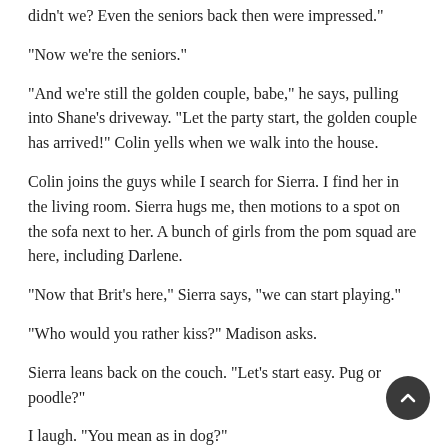didn't we? Even the seniors back then were impressed."
"Now we're the seniors."
"And we're still the golden couple, babe," he says, pulling into Shane's driveway. "Let the party start, the golden couple has arrived!" Colin yells when we walk into the house.
Colin joins the guys while I search for Sierra. I find her in the living room. Sierra hugs me, then motions to a spot on the sofa next to her. A bunch of girls from the pom squad are here, including Darlene.
"Now that Brit's here," Sierra says, "we can start playing."
"Who would you rather kiss?" Madison asks.
Sierra leans back on the couch. "Let's start easy. Pug or poodle?"
I laugh. "You mean as in dog?"
"Yeah."